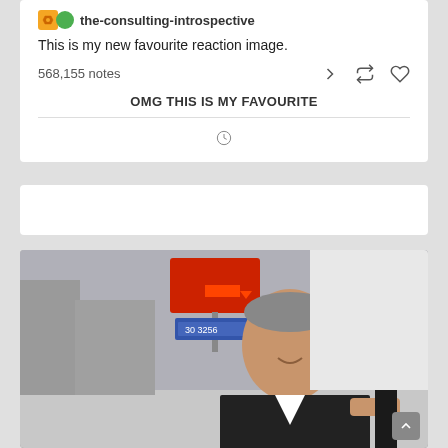[Figure (screenshot): Tumblr post by 'the-consulting-introspective' showing text 'This is my new favourite reaction image.' with 568,155 notes and social action icons, followed by a reblog comment 'OMG THIS IS MY FAVOURITE' and a clock icon]
[Figure (photo): Photograph of a man (resembling Barack Obama) smiling in a dark suit, standing outdoors on a street with street signs visible including a red sign and blue sign in background]
[Figure (screenshot): Empty white card section between the two main content cards]